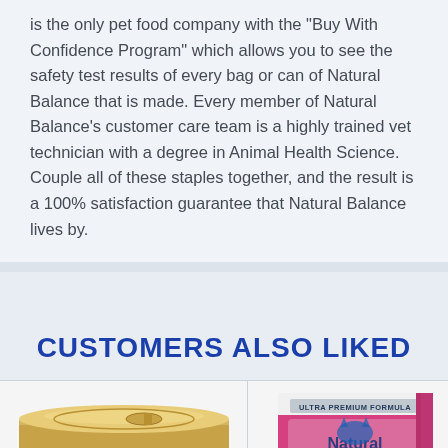is the only pet food company with the "Buy With Confidence Program" which allows you to see the safety test results of every bag or can of Natural Balance that is made. Every member of Natural Balance's customer care team is a highly trained vet technician with a degree in Animal Health Science. Couple all of these staples together, and the result is a 100% satisfaction guarantee that Natural Balance lives by.
CUSTOMERS ALSO LIKED
[Figure (photo): A gold/silver pet food can viewed from a slight angle, showing the top and side of the can]
[Figure (photo): A pink and white Natural Balance Ultra Premium Formula dry pet food bag]